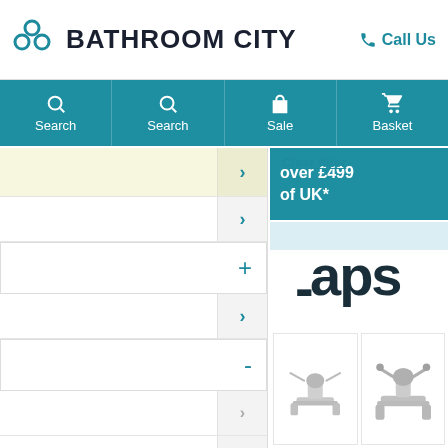[Figure (screenshot): Bathroom City e-commerce website screenshot showing logo, navigation bar with Search, Sale, Basket icons, sidebar filter panel with chevron arrows, promotional banner for free delivery over £499, and partial product listings for taps]
BATHROOM CITY
Call Us
Search | Search | Sale | Basket
Clear filter
over £499
of UK*
Taps
+
-